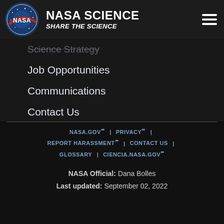NASA SCIENCE | SHARE THE SCIENCE
Science Strategy
Job Opportunities
Communications
Contact Us
NASA.GOV | PRIVACY | REPORT HARASSMENT | CONTACT US | GLOSSARY | CIENCIA.NASA.GOV
NASA Official: Dana Bolles
Last updated: September 02, 2022